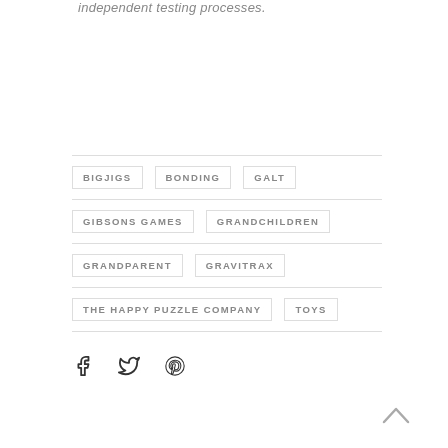independent testing processes.
BIGJIGS
BONDING
GALT
GIBSONS GAMES
GRANDCHILDREN
GRANDPARENT
GRAVITRAX
THE HAPPY PUZZLE COMPANY
TOYS
[Figure (other): Social share icons: Facebook, Twitter, Pinterest]
[Figure (other): Scroll to top arrow button]